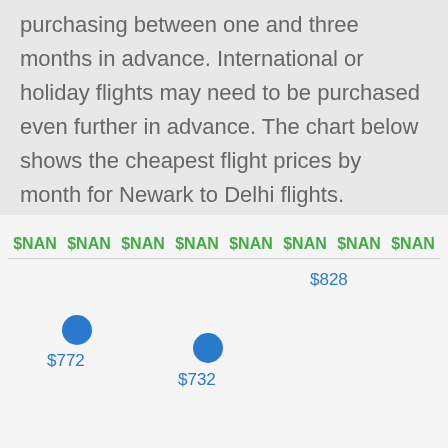purchasing between one and three months in advance. International or holiday flights may need to be purchased even further in advance. The chart below shows the cheapest flight prices by month for Newark to Delhi flights.
[Figure (continuous-plot): A partial chart showing cheapest flight prices by month for Newark to Delhi. Top row shows '$NAN' labels (8 columns). Below are scattered data points with labels: $772, $732, $828 visible.]